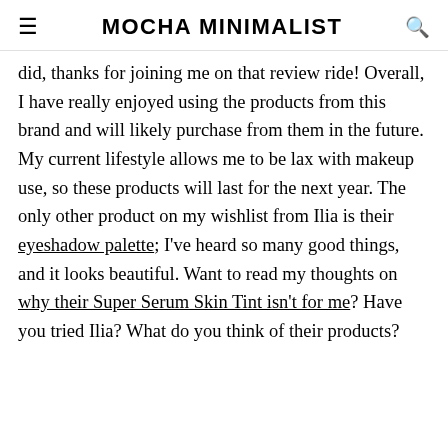MOCHA MINIMALIST
did, thanks for joining me on that review ride! Overall, I have really enjoyed using the products from this brand and will likely purchase from them in the future. My current lifestyle allows me to be lax with makeup use, so these products will last for the next year. The only other product on my wishlist from Ilia is their eyeshadow palette; I've heard so many good things, and it looks beautiful. Want to read my thoughts on why their Super Serum Skin Tint isn't for me? Have you tried Ilia? What do you think of their products?